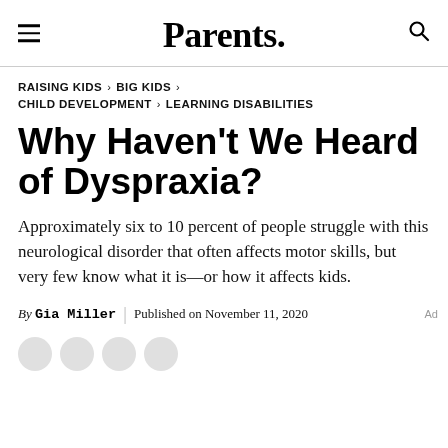Parents.
RAISING KIDS > BIG KIDS > CHILD DEVELOPMENT > LEARNING DISABILITIES
Why Haven't We Heard of Dyspraxia?
Approximately six to 10 percent of people struggle with this neurological disorder that often affects motor skills, but very few know what it is—or how it affects kids.
By Gia Miller | Published on November 11, 2020